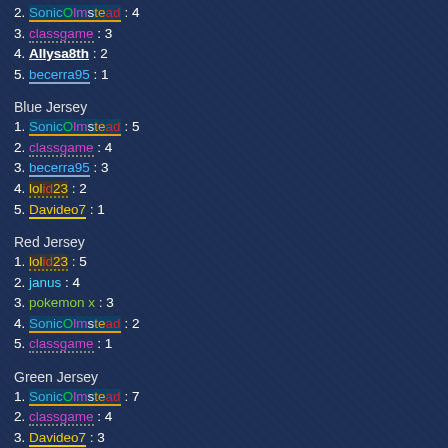2. SonicOlmstead : 4
3. classgame : 3
4. Allysa8th : 2
5. becerra95 : 1
Blue Jersey
1. SonicOlmstead : 5
2. classgame : 4
3. becerra95 : 3
4. lolid23 : 2
5. Davideo7 : 1
Red Jersey
1. lolid23 : 5
2. janus : 4
3. pokemon x : 3
4. SonicOlmstead : 2
5. classgame : 1
Green Jersey
1. SonicOlmstead : 7
2. classgame : 4
3. Davideo7 : 3
4. pokemon x : 2
5. jnisol : 1
Monthly Overall Results